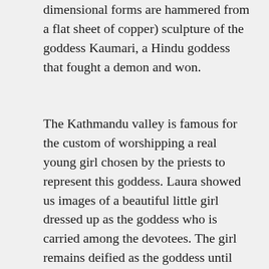This is a repoussé (a technique in which three-dimensional forms are hammered from a flat sheet of copper) sculpture of the goddess Kaumari, a Hindu goddess that fought a demon and won.
The Kathmandu valley is famous for the custom of worshipping a real young girl chosen by the priests to represent this goddess. Laura showed us images of a beautiful little girl dressed up as the goddess who is carried among the devotees. The girl remains deified as the goddess until she begins to menstruate, then is no longer considered a goddess. We talked about how this transition from a deified being in childhood, to becoming a commoner as a teenager, must be so difficult.